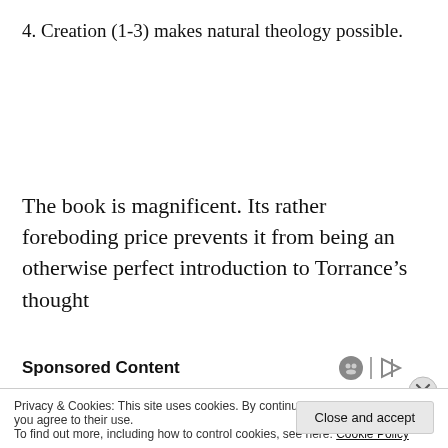4. Creation (1-3) makes natural theology possible.
The book is magnificent. Its rather foreboding price prevents it from being an otherwise perfect introduction to Torrance’s thought
Sponsored Content
Privacy & Cookies: This site uses cookies. By continuing to use this website, you agree to their use.
To find out more, including how to control cookies, see here: Cookie Policy
Close and accept